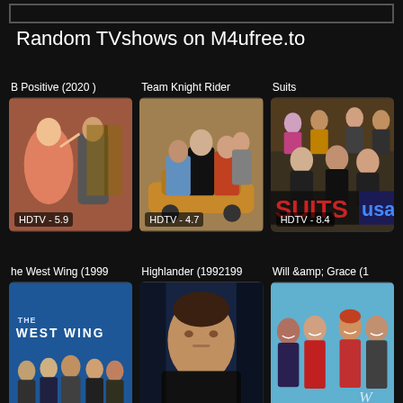Random TVshows on M4ufree.to
[Figure (photo): B Positive (2020) TV show thumbnail with HDTV rating 5.9]
[Figure (photo): Team Knight Rider TV show thumbnail with HDTV rating 4.7]
[Figure (photo): Suits TV show thumbnail with HDTV rating 8.4]
[Figure (photo): The West Wing (1999) TV show thumbnail]
[Figure (photo): Highlander (19921999) TV show thumbnail]
[Figure (photo): Will &amp; Grace (1) TV show thumbnail]